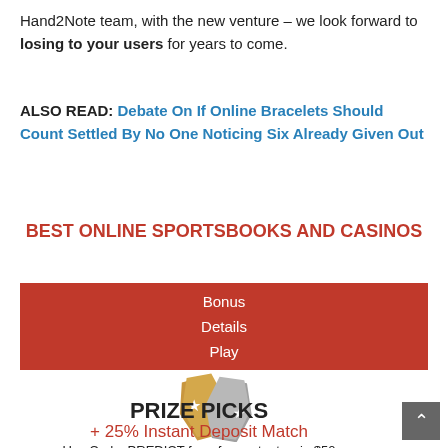Hand2Note team, with the new venture – we look forward to losing to your users for years to come.
ALSO READ: Debate On If Online Bracelets Should Count Settled By No One Noticing Six Already Given Out
BEST ONLINE SPORTSBOOKS AND CASINOS
| Bonus | Details | Play |
| --- | --- | --- |
[Figure (logo): PrizePicks logo — gold and silver overlapping star-badge shapes]
PRIZE PICKS
+ 25% Instant Deposit Match
Use Code: PREDICT for a free entry to win $50